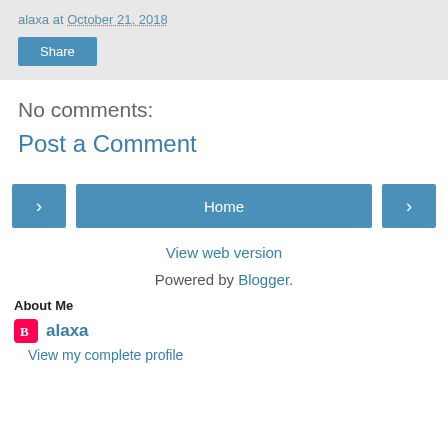alaxa at October 21, 2018
Share
No comments:
Post a Comment
< Home >
View web version
Powered by Blogger.
About Me
alaxa
View my complete profile